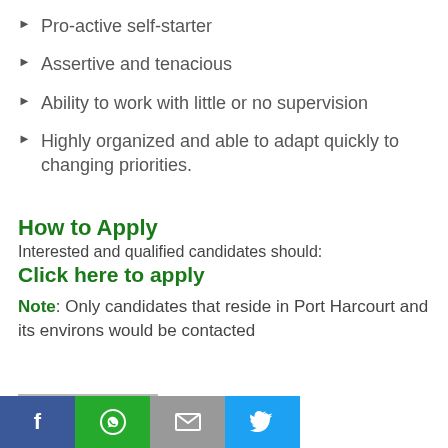Pro-active self-starter
Assertive and tenacious
Ability to work with little or no supervision
Highly organized and able to adapt quickly to changing priorities.
How to Apply
Interested and qualified candidates should:
Click here to apply
Note: Only candidates that reside in Port Harcourt and its environs would be contacted